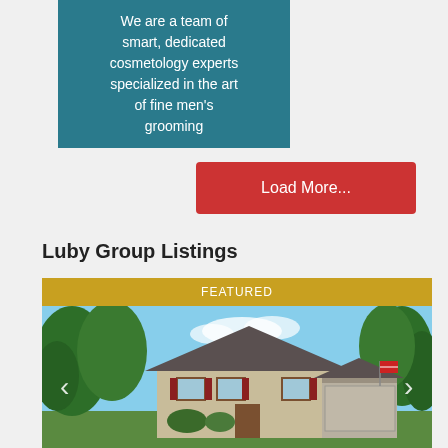We are a team of smart, dedicated cosmetology experts specialized in the art of fine men's grooming
Load More...
Luby Group Listings
[Figure (photo): Featured real estate listing photo showing a large two-story house with beige/tan siding, dark roof, attached garage, and lush green trees surrounding the property under a blue sky. Navigation arrows are visible on left and right sides.]